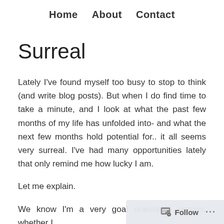Home   About   Contact
Surreal
Lately I've found myself too busy to stop to think (and write blog posts). But when I do find time to take a minute, and I look at what the past few months of my life has unfolded into- and what the next few months hold potential for.. it all seems very surreal. I've had many opportunities lately that only remind me how lucky I am.
Let me explain.
We know I'm a very goal orientated person, whether I